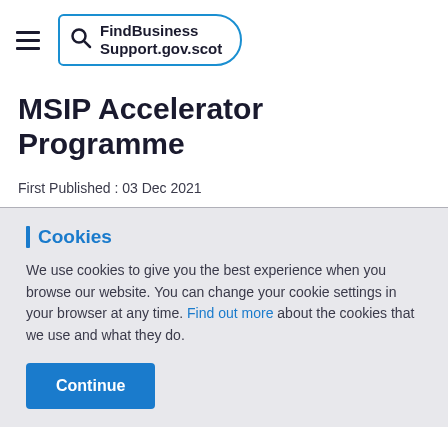FindBusinessSupport.gov.scot
MSIP Accelerator Programme
First Published : 03 Dec 2021
Cookies
We use cookies to give you the best experience when you browse our website. You can change your cookie settings in your browser at any time. Find out more about the cookies that we use and what they do.